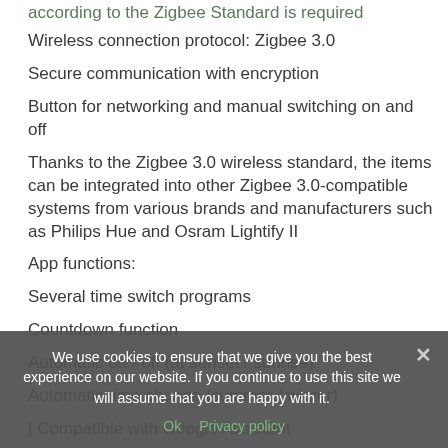according to the Zigbee Standard is required
Wireless connection protocol: Zigbee 3.0
Secure communication with encryption
Button for networking and manual switching on and off
Thanks to the Zigbee 3.0 wireless standard, the items can be integrated into other Zigbee 3.0-compatible systems from various brands and manufacturers such as Philips Hue and Osram Lightify II
App functions:
Several time switch programs
Countdown function
Automatic on / off (at sunset / sunrise)
Automatic time change (summer / winter)
| Compatible with Google Assistant
We use cookies to ensure that we give you the best experience on our website. If you continue to use this site we will assume that you are happy with it.
Ok   Privacy policy